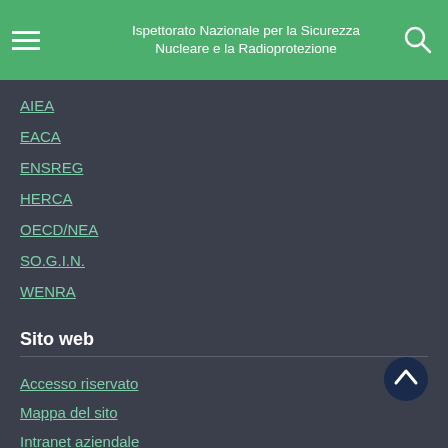Ispettorato Nazionale per la Sicurezza Nucleare e la Radioprotezione
AIEA
EACA
ENSREG
HERCA
OECD/NEA
SO.G.I.N.
WENRA
Sito web
Accesso riservato
Mappa del sito
Intranet aziendale